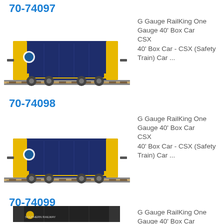70-74097
[Figure (photo): G Gauge RailKing One Gauge 40' Box Car CSX (Safety Train) - dark blue and yellow model train car on track]
G Gauge RailKing One Gauge 40' Box Car CSX 40' Box Car - CSX (Safety Train) Car ...
70-74098
[Figure (photo): G Gauge RailKing One Gauge 40' Box Car CSX (Safety Train) - dark blue and yellow model train car on track]
G Gauge RailKing One Gauge 40' Box Car CSX 40' Box Car - CSX (Safety Train) Car ...
70-74099
[Figure (photo): G Gauge RailKing One Gauge 40' Box Car Southern Pacific - dark/black model train car on track]
G Gauge RailKing One Gauge 40' Box Car Southern Pacific